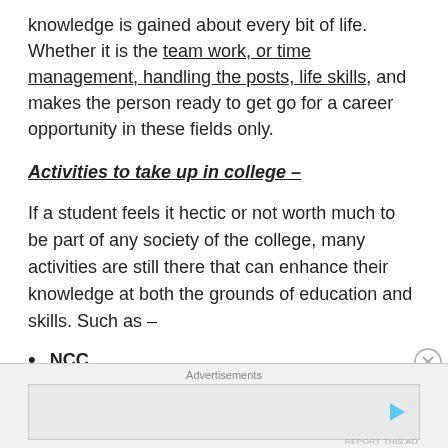knowledge is gained about every bit of life. Whether it is the team work, or time management, handling the posts, life skills, and makes the person ready to get go for a career opportunity in these fields only.
Activities to take up in college –
If a student feels it hectic or not worth much to be part of any society of the college, many activities are still there that can enhance their knowledge at both the grounds of education and skills. Such as –
NCC
NSS
Sports
Advertisements